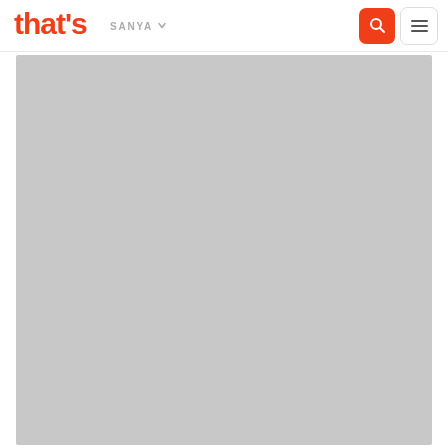that's | SANYA
[Figure (photo): Large gray placeholder image area below the navigation bar]